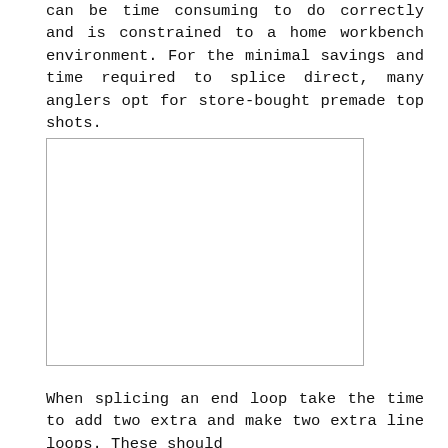can be time consuming to do correctly and is constrained to a home workbench environment. For the minimal savings and time required to splice direct, many anglers opt for store-bought premade top shots.
[Figure (other): Empty rectangular image placeholder with a light gray border]
When splicing an end loop take the time to add two extra and make two extra line loops. These should